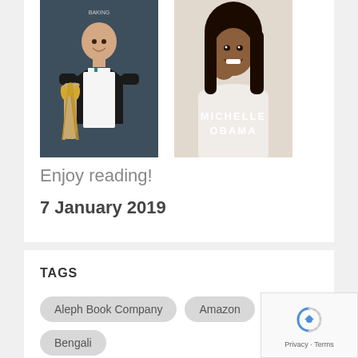[Figure (photo): Two book covers side by side: left shows a chef/baker in white apron holding wheat, right shows Michelle Obama memoir cover with her portrait and name]
Enjoy reading!
7 January 2019
TAGS
Aleph Book Company
Amazon
Bengali
biography
Bloomsbury
Children's literature